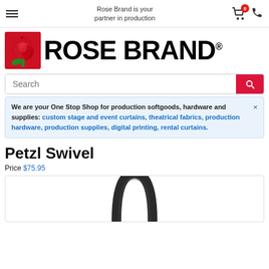Rose Brand is your partner in production
[Figure (logo): Rose Brand logo with red rose icon and bold black ROSE BRAND text]
Search
We are your One Stop Shop for production softgoods, hardware and supplies: custom stage and event curtains, theatrical fabrics, production hardware, production supplies, digital printing, rental curtains.
Petzl Swivel
Price $75.95
[Figure (photo): Petzl Swivel product image — black metal swivel device on white background, showing the top loop portion]